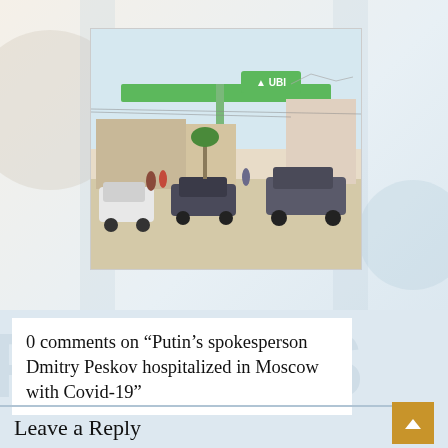[Figure (photo): A gas station with UBI branding, green canopy structure, cars parked and people visible, set on a wide paved area with a bright sky.]
0 comments on “Putin’s spokesperson Dmitry Peskov hospitalized in Moscow with Covid-19”
Leave a Reply